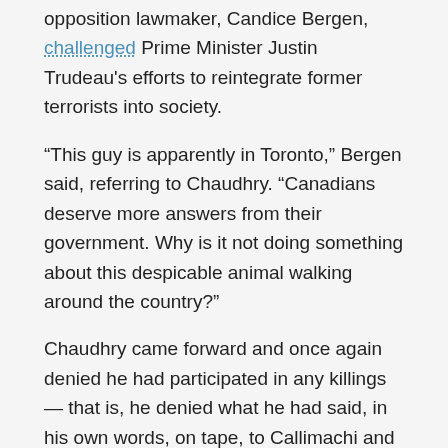opposition lawmaker, Candice Bergen, challenged Prime Minister Justin Trudeau's efforts to reintegrate former terrorists into society.
“This guy is apparently in Toronto,” Bergen said, referring to Chaudhry. “Canadians deserve more answers from their government. Why is it not doing something about this despicable animal walking around the country?”
Chaudhry came forward and once again denied he had participated in any killings — that is, he denied what he had said, in his own words, on tape, to Callimachi and The New York Times. Even so, in 2019 the podcast series was a finalist for the Pulitzer Prize and won a Peabody, one of the highest distinctions in broadcast journalism.
The Canadian media and a handful of critics in the U.S., notably Erik Wemple of The Washington Post and Hassan